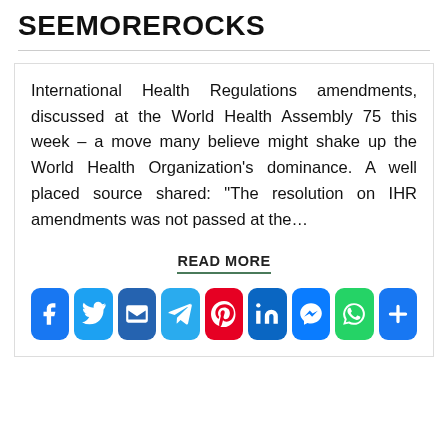SEEMOREROCKS
International Health Regulations amendments, discussed at the World Health Assembly 75 this week – a move many believe might shake up the World Health Organization's dominance. A well placed source shared: “The resolution on IHR amendments was not passed at the…
READ MORE
[Figure (infographic): Row of 9 social media share buttons: Facebook, Twitter, Email, Telegram, Pinterest, LinkedIn, Messenger, WhatsApp, Share (plus icon)]